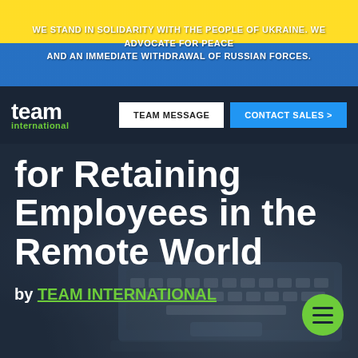WE STAND IN SOLIDARITY WITH THE PEOPLE OF UKRAINE. WE ADVOCATE FOR PEACE AND AN IMMEDIATE WITHDRAWAL OF RUSSIAN FORCES.
[Figure (logo): Team International company logo with white 'team' text and green 'international' text on dark navy background]
TEAM MESSAGE
CONTACT SALES >
for Retaining Employees in the Remote World
by TEAM INTERNATIONAL